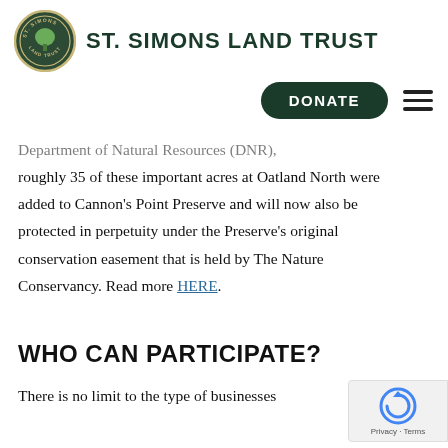ST. SIMONS LAND TRUST
Department of Natural Resources (DNR), roughly 35 of these important acres at Oatland North were added to Cannon's Point Preserve and will now also be protected in perpetuity under the Preserve's original conservation easement that is held by The Nature Conservancy. Read more HERE.
WHO CAN PARTICIPATE?
There is no limit to the type of businesses